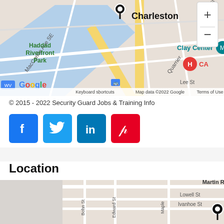[Figure (map): Google Map showing Charleston, WV area with Haddad Riverfront Park, Clay Center, map pin on Charleston, MacCorkle Ave SE, Quarrier St, Lee St. Includes zoom controls (+/-), Google logo, keyboard shortcuts and map data copyright notice.]
© 2015 - 2022 Security Guard Jobs & Training Info
[Figure (infographic): Four social media icon buttons: Facebook (f), Twitter (bird), LinkedIn (in), Pinterest (p) — all square with rounded corners on blue/red backgrounds with white icons.]
Location
[Figure (map): Google Map showing a street-level location with Martin Rd, Lowell St, Ivanhoe St, Edward St, Bohn St, Pinehurst St, Maple (partial). A black map pin is placed on Ivanhoe St. Zoom in (+) button visible in bottom right corner. Gray areas flank sides of map.]